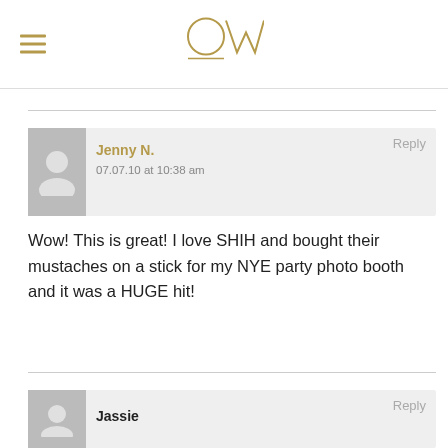OW
Reply
Jenny N.
07.07.10 at 10:38 am
Wow! This is great! I love SHIH and bought their mustaches on a stick for my NYE party photo booth and it was a HUGE hit!
Reply
Jassie